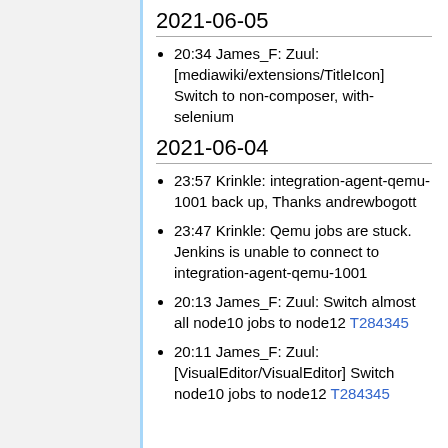2021-06-05
20:34 James_F: Zuul: [mediawiki/extensions/TitleIcon] Switch to non-composer, with-selenium
2021-06-04
23:57 Krinkle: integration-agent-qemu-1001 back up, Thanks andrewbogott
23:47 Krinkle: Qemu jobs are stuck. Jenkins is unable to connect to integration-agent-qemu-1001
20:13 James_F: Zuul: Switch almost all node10 jobs to node12 T284345
20:11 James_F: Zuul: [VisualEditor/VisualEditor] Switch node10 jobs to node12 T284345